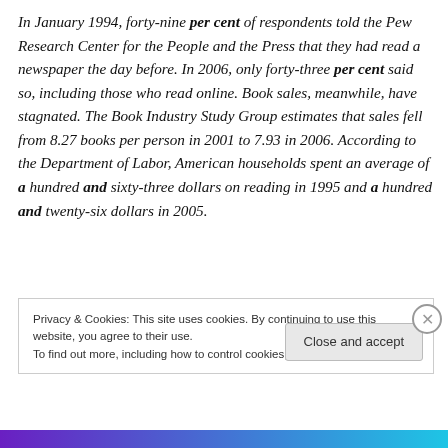In January 1994, forty-nine per cent of respondents told the Pew Research Center for the People and the Press that they had read a newspaper the day before. In 2006, only forty-three per cent said so, including those who read online. Book sales, meanwhile, have stagnated. The Book Industry Study Group estimates that sales fell from 8.27 books per person in 2001 to 7.93 in 2006. According to the Department of Labor, American households spent an average of a hundred and sixty-three dollars on reading in 1995 and a hundred and twenty-six dollars in 2005.
Privacy & Cookies: This site uses cookies. By continuing to use this website, you agree to their use.
To find out more, including how to control cookies, see here: Cookie Policy